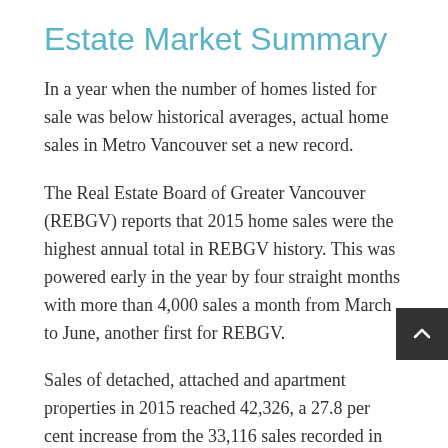Estate Market Summary
In a year when the number of homes listed for sale was below historical averages, actual home sales in Metro Vancouver set a new record.
The Real Estate Board of Greater Vancouver (REBGV) reports that 2015 home sales were the highest annual total in REBGV history. This was powered early in the year by four straight months with more than 4,000 sales a month from March to June, another first for REBGV.
Sales of detached, attached and apartment properties in 2015 reached 42,326, a 27.8 per cent increase from the 33,116 sales recorded in